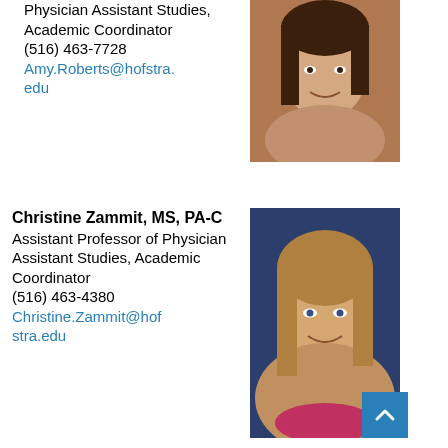Physician Assistant Studies, Academic Coordinator
(516) 463-7728
Amy.Roberts@hofstra.edu
[Figure (photo): Headshot of a woman with dark brown hair, smiling, against a white/light background.]
Christine Zammit, MS, PA-C
Assistant Professor of Physician Assistant Studies, Academic Coordinator
(516) 463-4380
Christine.Zammit@hofstra.edu
[Figure (photo): Headshot of a woman with long blonde/brown hair, smiling, against a dark navy blue background.]